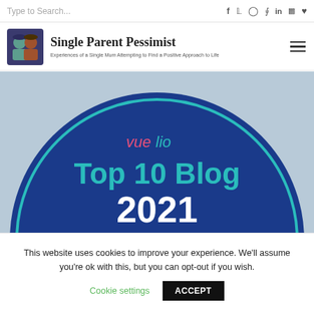Type to Search...  f  y  [instagram]  [pinterest]  in  [youtube]  [heart]
Single Parent Pessimist
Experiences of a Single Mum Attempting to Find a Positive Approach to Life
[Figure (illustration): Circular badge on blue background with teal ring border. Text: 'vuelio' (pink/red 'vue', teal 'lio') and 'Top 10 Blog' in teal large text, '2021' in white large bold text below.]
This website uses cookies to improve your experience. We'll assume you're ok with this, but you can opt-out if you wish.
Cookie settings   ACCEPT